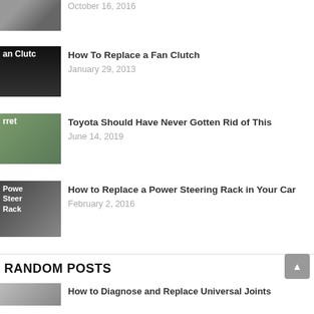[Figure (photo): Partially visible thumbnail of car engine/mechanical parts]
October 16, 2016
[Figure (photo): Thumbnail with text 'an Clutch' and man holding fan clutch]
How To Replace a Fan Clutch
January 29, 2013
[Figure (photo): Thumbnail with text 'rret' and Toyota SUV]
Toyota Should Have Never Gotten Rid of This
June 14, 2019
[Figure (photo): Thumbnail with text 'Power Steer Rack' and man]
How to Replace a Power Steering Rack in Your Car
February 2, 2016
RANDOM POSTS
[Figure (photo): Partially visible thumbnail for Universal Joints post]
How to Diagnose and Replace Universal Joints